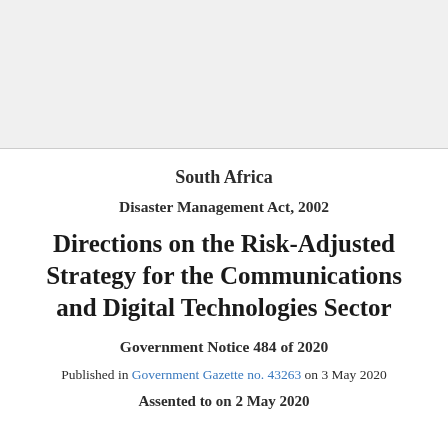South Africa
Disaster Management Act, 2002
Directions on the Risk-Adjusted Strategy for the Communications and Digital Technologies Sector
Government Notice 484 of 2020
Published in Government Gazette no. 43263 on 3 May 2020
Assented to on 2 May 2020